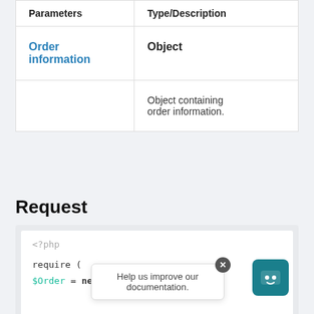| Parameters | Type/Description |
| --- | --- |
| Order information | Object |
|  | Object containing order information. |
Request
[Figure (screenshot): PHP code block showing: <?php, require (, $Order = new stdClass();]
Help us improve our documentation.